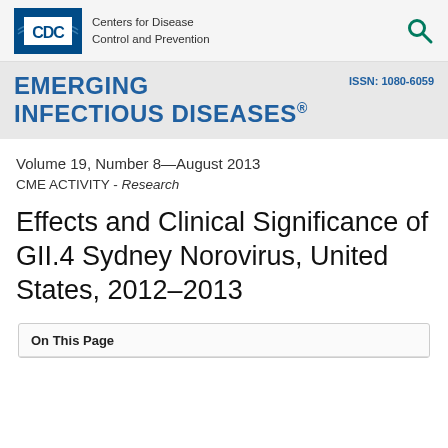[Figure (logo): CDC (Centers for Disease Control and Prevention) logo with blue box and text, plus a teal search icon on the right]
EMERGING INFECTIOUS DISEASES® ISSN: 1080-6059
Volume 19, Number 8—August 2013
CME ACTIVITY - Research
Effects and Clinical Significance of GII.4 Sydney Norovirus, United States, 2012–2013
On This Page